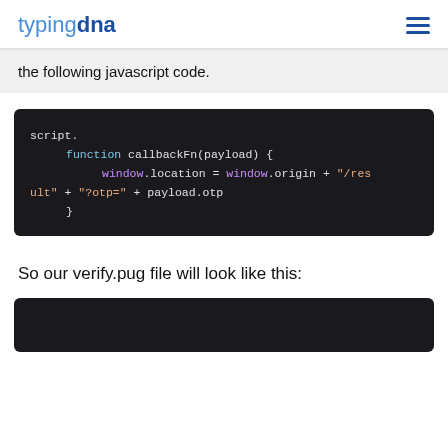typingdna
the following javascript code.
[Figure (screenshot): Dark-themed code block showing JavaScript: script. function callbackFn(payload) { window.location = window.origin + "/result" + "?otp=" + payload.otp }]
So our verify.pug file will look like this:
[Figure (screenshot): Dark-themed code block, beginning of verify.pug content (truncated)]